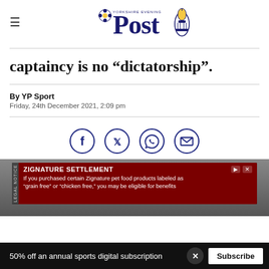Yorkshire Evening Post
captaincy is no “dictatorship”.
By YP Sport
Friday, 24th December 2021, 2:09 pm
[Figure (infographic): Social share buttons: Facebook, Twitter, WhatsApp, Email — circular dark blue outlined icons]
[Figure (photo): Sports photograph partially visible in background, dark toned]
[Figure (infographic): Advertisement overlay: ZIGNATURE SETTLEMENT legal notice ad on dark red background. Text: If you purchased certain Zignature pet food products labeled as 'grain free' or 'chicken free,' you may be eligible for benefits]
50% off an annual sports digital subscription   Subscribe